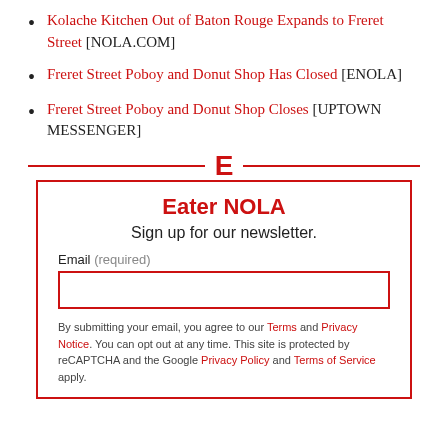Kolache Kitchen Out of Baton Rouge Expands to Freret Street [NOLA.COM]
Freret Street Poboy and Donut Shop Has Closed [ENOLA]
Freret Street Poboy and Donut Shop Closes [UPTOWN MESSENGER]
[Figure (logo): Eater E logo in red above a red-bordered newsletter signup box]
Eater NOLA
Sign up for our newsletter.
Email (required)
By submitting your email, you agree to our Terms and Privacy Notice. You can opt out at any time. This site is protected by reCAPTCHA and the Google Privacy Policy and Terms of Service apply.